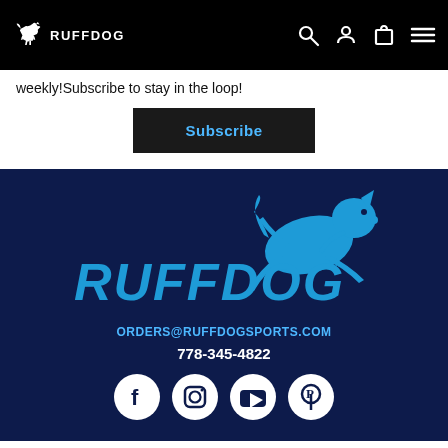RUFFDOG
weekly!Subscribe to stay in the loop!
Subscribe
[Figure (logo): RUFFDOG brand logo with jumping dog silhouette in blue on dark navy background]
ORDERS@RUFFDOGSPORTS.COM
778-345-4822
[Figure (illustration): Social media icons: Facebook, Instagram, YouTube, Pinterest on white circular backgrounds]